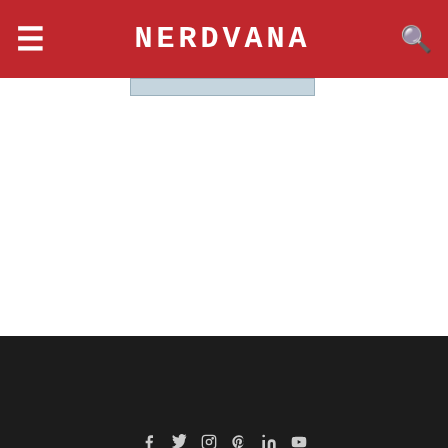NERDVANA
[Figure (screenshot): Pathfinder Infinite / Starfinder Infinite banner ad with text 'Infinite Possibilities! Pathfinder and Starfinder Community Content']
Copyright © 2022 Nerdvana Media
ABOUT   CONTACT   HELP